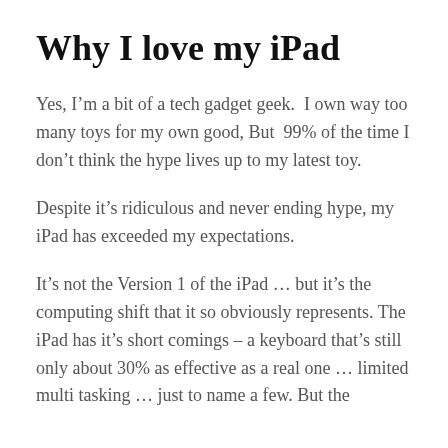Why I love my iPad
Yes, I’m a bit of a tech gadget geek.  I own way too many toys for my own good, But  99% of the time I don’t think the hype lives up to my latest toy.
Despite it’s ridiculous and never ending hype, my iPad has exceeded my expectations.
It’s not the Version 1 of the iPad … but it’s the computing shift that it so obviously represents. The iPad has it’s short comings – a keyboard that’s still only about 30% as effective as a real one … limited multi tasking … just to name a few. But the…